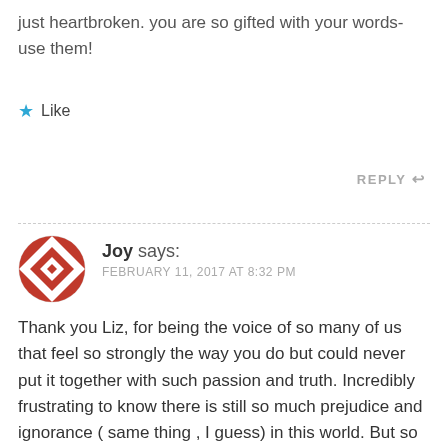just heartbroken. you are so gifted with your words- use them!
★ Like
REPLY ↩
Joy says:
FEBRUARY 11, 2017 AT 8:32 PM
Thank you Liz, for being the voice of so many of us that feel so strongly the way you do but could never put it together with such passion and truth. Incredibly frustrating to know there is still so much prejudice and ignorance ( same thing , I guess) in this world. But so hopeful and relieved to know there are people like you speaking out. Bless you!